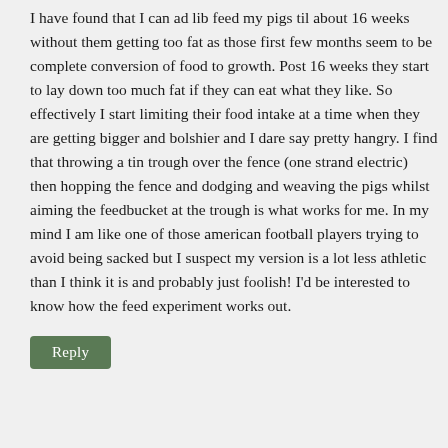I have found that I can ad lib feed my pigs til about 16 weeks without them getting too fat as those first few months seem to be complete conversion of food to growth. Post 16 weeks they start to lay down too much fat if they can eat what they like. So effectively I start limiting their food intake at a time when they are getting bigger and bolshier and I dare say pretty hangry. I find that throwing a tin trough over the fence (one strand electric) then hopping the fence and dodging and weaving the pigs whilst aiming the feedbucket at the trough is what works for me. In my mind I am like one of those american football players trying to avoid being sacked but I suspect my version is a lot less athletic than I think it is and probably just foolish! I'd be interested to know how the feed experiment works out.
Reply